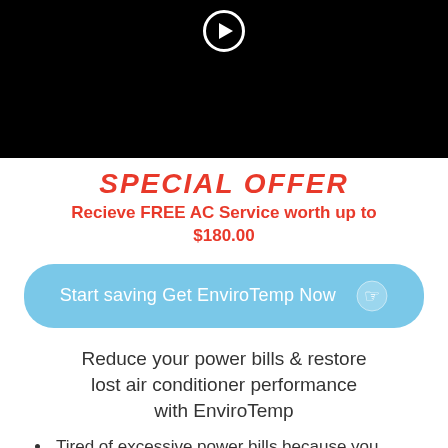[Figure (other): Black video player placeholder with white play button circle at top center]
SPECIAL OFFER
Recieve FREE AC Service worth up to $180.00
Start saving Get EnviroTemp Now 👉
Reduce your power bills & restore lost air conditioner performance with EnviroTemp
Tired of excessive power bills because you choose to stay warm in winter and cool in summer?
Does your air conditioner seem to